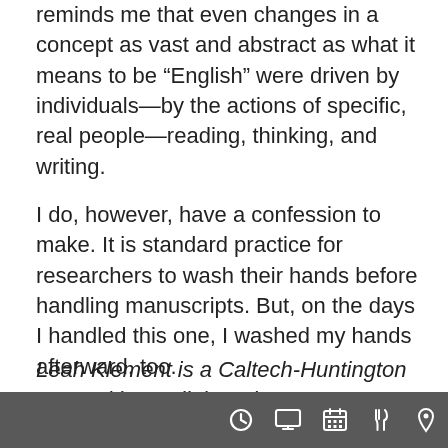reminds me that even changes in a concept as vast and abstract as what it means to be “English” were driven by individuals—by the actions of specific, real people—reading, thinking, and writing.
I do, however, have a confession to make. It is standard practice for researchers to wash their hands before handling manuscripts. But, on the days I handled this one, I washed my hands afterward, too.
Leah Klement is a Caltech-Huntington Humanities Collaborations postdoctoral instructor and 2016–18